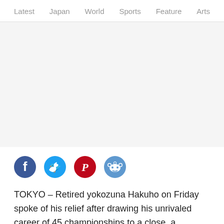Latest  Japan  World  Sports  Feature  Arts
[Figure (other): Advertisement placeholder area (blank white/gray space)]
[Figure (infographic): Social media sharing icons: Facebook (dark blue), Twitter (light blue), Pinterest (red), Reddit (blue)]
TOKYO – Retired yokozuna Hakuho on Friday spoke of his relief after drawing his unrivaled career of 45 championships to a close, a decision he said he made in